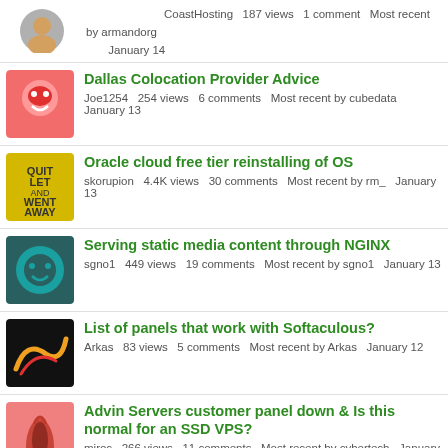CoastHosting  187 views  1 comment  Most recent by armandorg  January 14
Dallas Colocation Provider Advice
Joe1254  254 views  6 comments  Most recent by cubedata  January 13
Oracle cloud free tier reinstalling of OS
skorupion  4.4K views  30 comments  Most recent by rm_  January 13
Serving static media content through NGINX
sgno1  449 views  19 comments  Most recent by sgno1  January 13
List of panels that work with Softaculous?
Arkas  83 views  5 comments  Most recent by Arkas  January 12
Advin Servers customer panel down & Is this normal for an SSD VPS?
miroc  266 views  11 comments  Most recent by cybertech  January 12
OVH cPanel price
zafouhar  255 views  2 comments  Most recent by fredo1664  January 11
Traffic Control
imgmoney  153 views  0 comments  Started by imgmoney  January 9